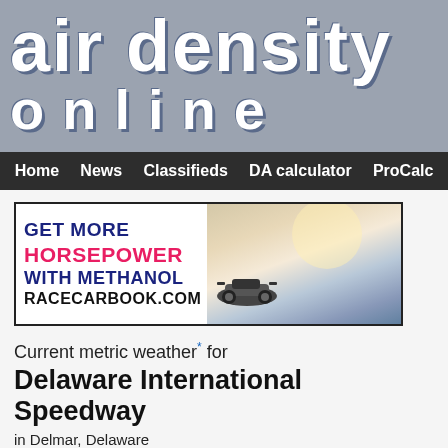air density online
Home  News  Classifieds  DA calculator  ProCalc
[Figure (photo): Advertisement banner: GET MORE HORSEPOWER WITH METHANOL RACECARBOOK.COM with race car photo on right side]
Current metric weather* for
Delaware International Speedway
in Delmar, Delaware
| temperature 25.0 d... |